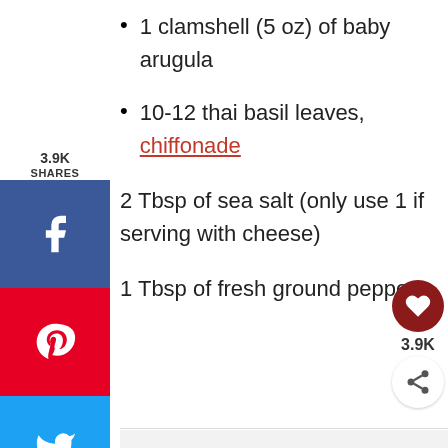1 clamshell (5 oz) of baby arugula
10-12 thai basil leaves, chiffonade
2 Tbsp of sea salt (only use 1 if serving with cheese)
1 Tbsp of fresh ground pepper
[Figure (infographic): Social media share sidebar with share count 3.9K, Facebook, Pinterest, Twitter, Yummly, and Email buttons. Bottom right floating widget shows heart icon, 3.9K count, and share icon.]